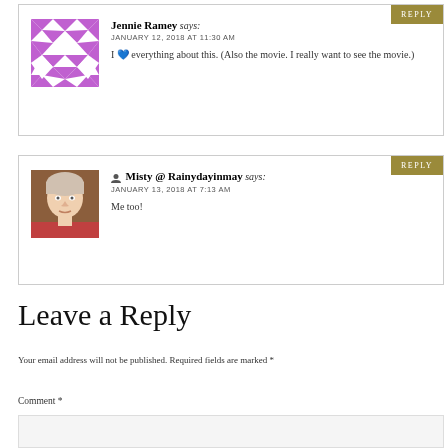Jennie Ramey says: JANUARY 12, 2018 AT 11:30 AM I 💙 everything about this. (Also the movie. I really want to see the movie.)
REPLY
Misty @ Rainydayinmay says: JANUARY 13, 2018 AT 7:13 AM Me too!
REPLY
Leave a Reply
Your email address will not be published. Required fields are marked *
Comment *